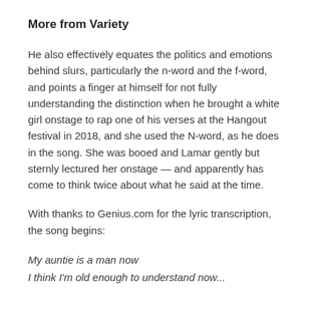More from Variety
He also effectively equates the politics and emotions behind slurs, particularly the n-word and the f-word, and points a finger at himself for not fully understanding the distinction when he brought a white girl onstage to rap one of his verses at the Hangout festival in 2018, and she used the N-word, as he does in the song. She was booed and Lamar gently but sternly lectured her onstage — and apparently has come to think twice about what he said at the time.
With thanks to Genius.com for the lyric transcription, the song begins:
My auntie is a man now
I think I'm old enough to understand now...